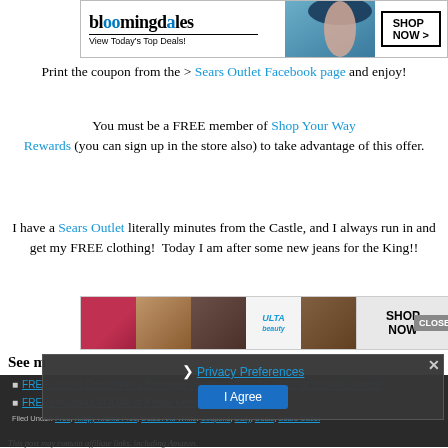[Figure (screenshot): Bloomingdale's advertisement banner with woman in hat, 'View Today's Top Deals!' text and 'SHOP NOW >' button]
Print the coupon from the > Sears Outlet Facebook page and enjoy!
You must be a FREE member of Shop Your Way Rewards (you can sign up in the store also) to take advantage of this offer.
I have a Sears Outlet literally minutes from the Castle, and I always run in and get my FREE clothing!  Today I am after some new jeans for the King!!
[Figure (screenshot): ULTA beauty advertisement banner with makeup photos and 'SHOP NOW' button, with 'CLOSE' button overlay]
See m
FREE Classic Donut with a Beverage Purchase TODAY ONLY at Dunkin' Donuts!
FREE Doughnut TODAY at Krispy Kreme!
Filed Under: Free, Krispy Kreme Free, Deals And While: Coupons, Daily, Deals, Sears Outlet
[Figure (screenshot): Privacy Preferences modal overlay with '> Privacy Preferences' text and 'I Agree' button and X close button]
This post may contain affiliate links, including Amazon.